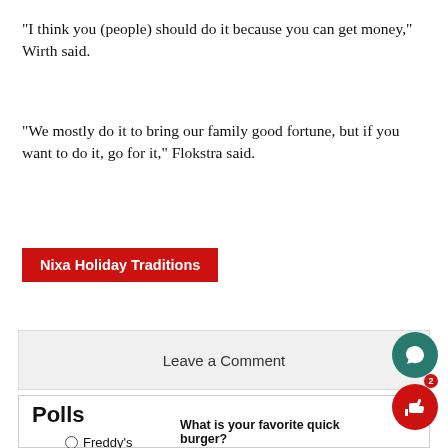“I think you (people) should do it because you can get money,” Wirth said.
“We mostly do it to bring our family good fortune, but if you want to do it, go for it,” Flokstra said.
Nixa Holiday Traditions
Leave a Comment
Polls
What is your favorite quick burger?
Freddy’s